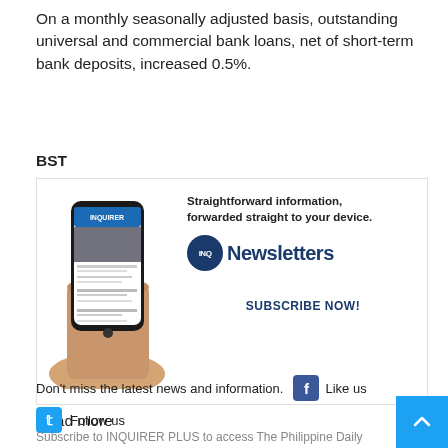On a monthly seasonally adjusted basis, outstanding universal and commercial bank loans, net of short-term bank deposits, increased 0.5%.
BST
[Figure (infographic): Advertisement banner showing a hand holding a smartphone displaying the Inquirer website. Right side shows text 'Straightforward information, forwarded straight to your device.' with INQ Newsletters logo and 'SUBSCRIBE NOW!' button.]
Read more
Don't miss the latest news and information.
Like us
Follow us
Subscribe to INQUIRER PLUS to access The Philippine Daily